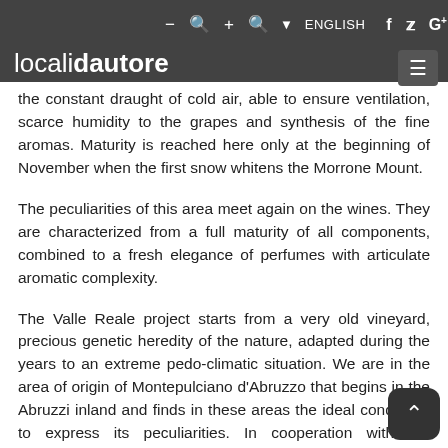localidautore [navbar with search icons, ENGLISH, social icons, hamburger menu]
the constant draught of cold air, able to ensure ventilation, scarce humidity to the grapes and synthesis of the fine aromas. Maturity is reached here only at the beginning of November when the first snow whitens the Morrone Mount.
The peculiarities of this area meet again on the wines. They are characterized from a full maturity of all components, combined to a fresh elegance of perfumes with articulate aromatic complexity.
The Valle Reale project starts from a very old vineyard, precious genetic heredity of the nature, adapted during the years to an extreme pedo-climatic situation. We are in the area of origin of Montepulciano d'Abruzzo that begins in the Abruzzi inland and finds in these areas the ideal conditions to express its peculiarities. In cooperation with the agronomic faculty of the University of Milan guided from Prof. Valenti, the Pizzolo family begins selecting clones which are more suitable for the Valle Reale environment and therefore more suitable for obtaining a great wine that expresses the varietal and the land. We planted 54 hectares of vines divided between Popoli and Capestrano dedicated mostly to Montepulciano d'Abruzzo. Close to the vines, jealously guarded by a specialized agronomic staff, developed 46 hectares spurred cordon intentionally planned to